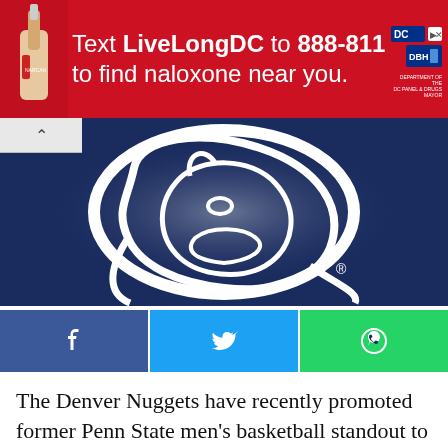[Figure (infographic): Red advertisement banner: Text LiveLongDC to 888-811 to find naloxone near you. Logos on right for DC and DBH.]
[Figure (logo): Penn State Nittany Lions logo — white lion head on dark navy blue background with registered trademark symbol.]
[Figure (infographic): Social media share buttons: Facebook (blue), Twitter (cyan/blue), WhatsApp (green)]
The Denver Nuggets have recently promoted former Penn State men's basketball standout to be the team's head of basketball operations. Booth will be succeeding Tim Connelly, who wa...